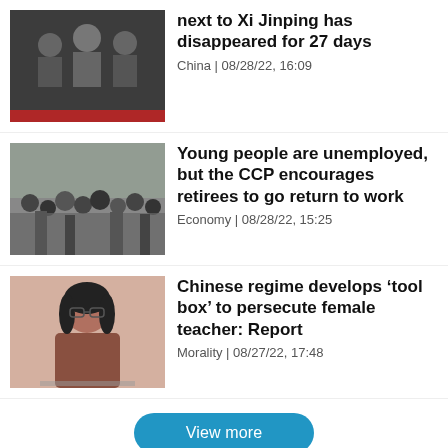[Figure (photo): Photo of men in suits applauding, likely Chinese officials]
next to Xi Jinping has disappeared for 27 days
China | 08/28/22, 16:09
[Figure (photo): Crowd of young people at what appears to be a job fair]
Young people are unemployed, but the CCP encourages retirees to go return to work
Economy | 08/28/22, 15:25
[Figure (photo): Portrait photo of a woman with glasses and dark hair]
Chinese regime develops ‘tool box’ to persecute female teacher: Report
Morality | 08/27/22, 17:48
View more
Copyright © 2017 -